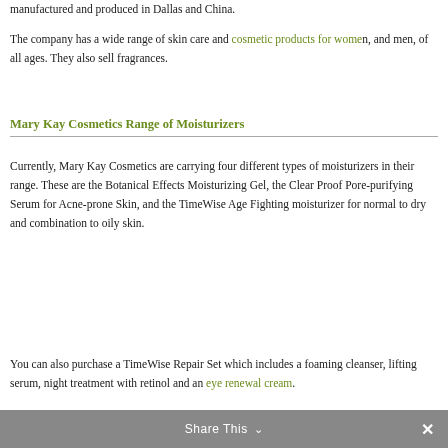manufactured and produced in Dallas and China.
The company has a wide range of skin care and cosmetic products for women, and men, of all ages. They also sell fragrances.
Mary Kay Cosmetics Range of Moisturizers
Currently, Mary Kay Cosmetics are carrying four different types of moisturizers in their range. These are the Botanical Effects Moisturizing Gel, the Clear Proof Pore-purifying Serum for Acne-prone Skin, and the TimeWise Age Fighting moisturizer for normal to dry and combination to oily skin.
You can also purchase a TimeWise Repair Set which includes a foaming cleanser, lifting serum, night treatment with retinol and an eye renewal cream.
Share This ×